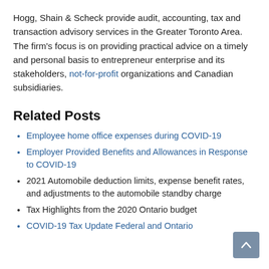Hogg, Shain & Scheck provide audit, accounting, tax and transaction advisory services in the Greater Toronto Area. The firm's focus is on providing practical advice on a timely and personal basis to entrepreneur enterprise and its stakeholders, not-for-profit organizations and Canadian subsidiaries.
Related Posts
Employee home office expenses during COVID-19
Employer Provided Benefits and Allowances in Response to COVID-19
2021 Automobile deduction limits, expense benefit rates, and adjustments to the automobile standby charge
Tax Highlights from the 2020 Ontario budget
COVID-19 Tax Update Federal and Ontario